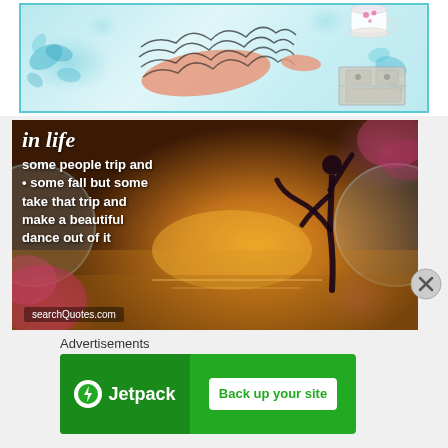[Figure (illustration): Watercolor illustration of a stylized bird/figure lying down with decorative wings/feathers, blue floral elements, a teacup in the top right, and a dresser/furniture piece in the bottom right, on a light blue/white background.]
[Figure (photo): Motivational quote image over a sunset silhouette background with a dancer. Text reads: 'in life some people trip and some fall but some take that trip and make a beautiful dance out of it' with searchQuotes.com attribution. Pink floral/bokeh overlays and circular decorative elements.]
Advertisements
[Figure (logo): Jetpack advertisement banner with green background. Left side shows Jetpack logo (lightning bolt icon and 'Jetpack' text). Right side shows a white button reading 'Back up your site'.]